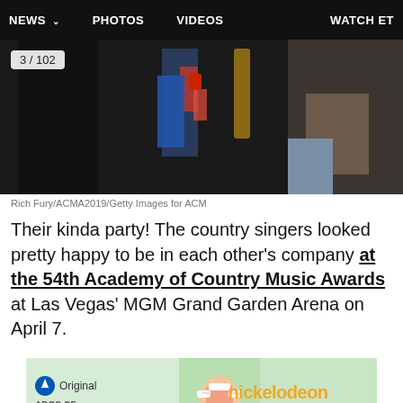NEWS   PHOTOS   VIDEOS   WATCH ET
[Figure (photo): People at an event, dark background, partial figures visible with photo counter overlay showing 3/102]
Rich Fury/ACMA2019/Getty Images for ACM
Their kinda party! The country singers looked pretty happy to be in each other's company at the 54th Academy of Country Music Awards at Las Vegas' MGM Grand Garden Arena on April 7.
[Figure (photo): Advertisement banner: Paramount Original and Nickelodeon co-branded ad with cartoon character wrapped in bandages]